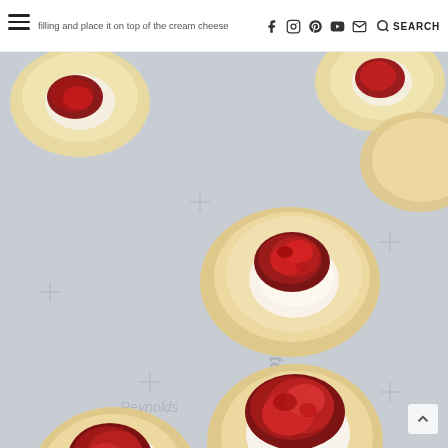filling and place it on top of the cream cheese [navigation icons: Facebook, Instagram, Pinterest, YouTube, Email, Search]
[Figure (photo): Food photo showing several unbaked pastry rounds on parchment paper, each topped with a dollop of cream cheese and a spoonful of red cherry or cranberry jam filling. Watermark text 'Reynolds Kitchen' visible in background.]